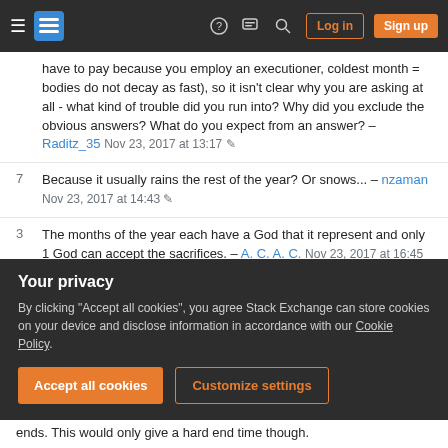Stack Exchange navigation bar with hamburger menu, logo, help, chat, search icons, Log in and Sign up buttons
have to pay because you employ an executioner, coldest month = bodies do not decay as fast), so it isn't clear why you are asking at all - what kind of trouble did you run into? Why did you exclude the obvious answers? What do you expect from an answer? – Raditz_35 Nov 23, 2017 at 13:17 ✎
7 Because it usually rains the rest of the year? Or snows... – nzaman Nov 23, 2017 at 14:43 ✎
3 The months of the year each have a God that it represent and only 1 God can accept the sacrifices. – A. C. A. C. Nov 23, 2017 at 16:45
Your privacy
By clicking "Accept all cookies", you agree Stack Exchange can store cookies on your device and disclose information in accordance with our Cookie Policy.
ends. This would only give a hard end time though.